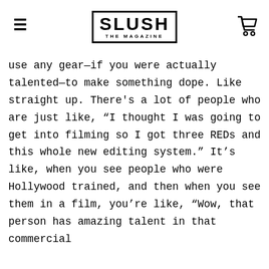SLUSH THE MAGAZINE
use any gear—if you were actually talented—to make something dope. Like straight up. There's a lot of people who are just like, “I thought I was going to get into filming so I got three REDs and this whole new editing system.” It’s like, when you see people who were Hollywood trained, and then when you see them in a film, you’re like, “Wow, that person has amazing talent in that commercial